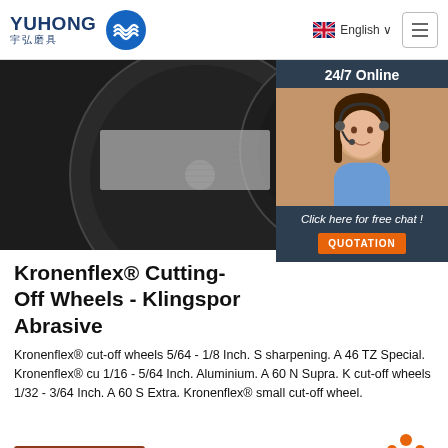[Figure (logo): Yuhong 宇弘磨具 logo with blue wave icon, English language selector with UK flag, and hamburger menu button]
[Figure (photo): Dark cutting-off wheels / abrasive discs product photo with labeled packaging]
[Figure (photo): 24/7 Online chat overlay with female customer service representative wearing headset, 'Click here for free chat!' and QUOTATION button]
Kronenflex® Cutting-Off Wheels - Klingspor Abrasive
Kronenflex® cut-off wheels 5/64 - 1/8 Inch. S sharpening. A 46 TZ Special. Kronenflex® cu 1/16 - 5/64 Inch. Aluminium. A 60 N Supra. K cut-off wheels 1/32 - 3/64 Inch. A 60 S Extra. Kronenflex® small cut-off wheel.
[Figure (other): Get Price button (brown/dark red)]
[Figure (other): TOP back-to-top button with orange dots]